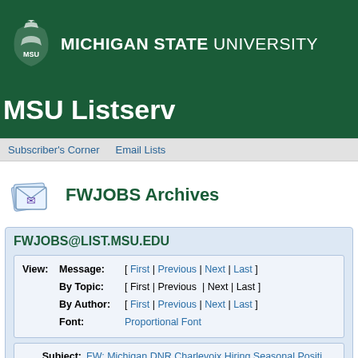MICHIGAN STATE UNIVERSITY
MSU Listserv
Subscriber's Corner   Email Lists
FWJOBS Archives
FWJOBS@LIST.MSU.EDU
View: Message: [ First | Previous | Next | Last ] By Topic: [ First | Previous | Next | Last ] By Author: [ First | Previous | Next | Last ] Font: Proportional Font
Subject: FW: Michigan DNR Charlevoix Hiring Seasonal Positi... From: "Schneider, Jim" <[log in to unmask]> Reply-To: Schneider, Jim